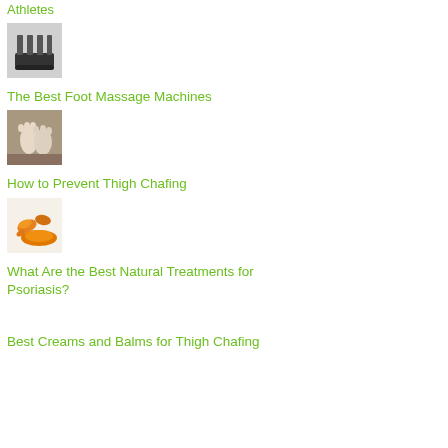Athletes
[Figure (photo): Foot massage machine thumbnail]
The Best Foot Massage Machines
[Figure (photo): Feet on ground, thigh chafing article thumbnail]
How to Prevent Thigh Chafing
[Figure (photo): Turmeric/natural treatments thumbnail]
What Are the Best Natural Treatments for Psoriasis?
Best Creams and Balms for Thigh Chafing